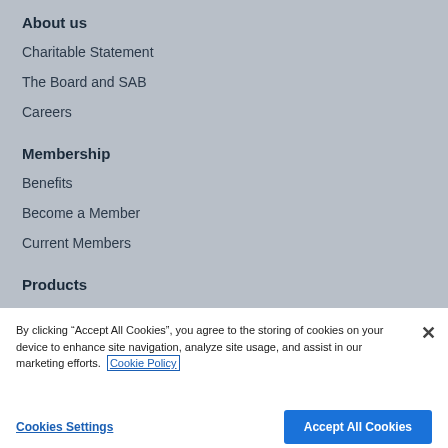About us
Charitable Statement
The Board and SAB
Careers
Membership
Benefits
Become a Member
Current Members
Products
The Library
By clicking “Accept All Cookies”, you agree to the storing of cookies on your device to enhance site navigation, analyze site usage, and assist in our marketing efforts. Cookie Policy
Cookies Settings
Accept All Cookies